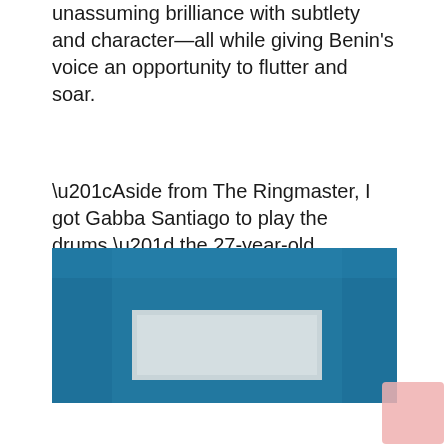unassuming brilliance with subtlety and character—all while giving Benin's voice an opportunity to flutter and soar.
“Aside from The Ringmaster, I got Gabba Santiago to play the drums,” the 27-year-old hitmaker said. “I enjoy working with Gabba and The Ringmaster because I feel like they really understood my vision for blink.”
[Figure (photo): A rectangular image showing a blue-teal textured background with a light grey/white rectangle centered in the lower portion of the image.]